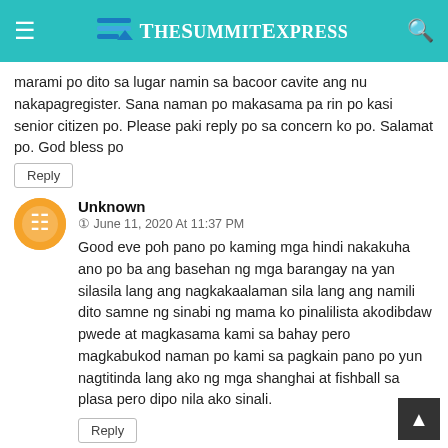TheSummitExpress
marami po dito sa lugar namin sa bacoor cavite ang nu nakapagregister. Sana naman po makasama pa rin po kasi senior citizen po. Please paki reply po sa concern ko po. Salamat po. God bless po
Reply
Unknown
June 11, 2020 At 11:37 PM
Good eve poh pano po kaming mga hindi nakakuha ano po ba ang basehan ng mga barangay na yan silasila lang ang nagkakaalaman sila lang ang namili dito samne ng sinabi ng mama ko pinalilista akodibdaw pwede at magkasama kami sa bahay pero magkabukod naman po kami sa pagkain pano po yun nagtitinda lang ako ng mga shanghai at fishball sa plasa pero dipo nila ako sinali.
Reply
Unknown
June 12, 2020 At 12:28 AM